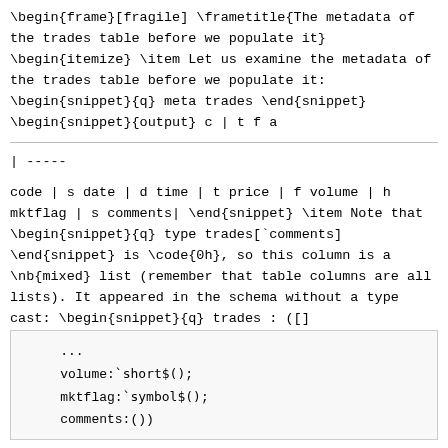\begin{frame}[fragile] \frametitle{The metadata of the trades table before we populate it} \begin{itemize} \item Let us examine the metadata of the trades table before we populate it: \begin{snippet}{q} meta trades \end{snippet} \begin{snippet}{output} c | t f a
| -----
code | s date | d time | t price | f volume | h mktflag | s comments| \end{snippet} \item Note that \begin{snippet}{q} type trades[`comments] \end{snippet} is \code{0h}, so this column is a \nb{mixed} list (remember that table columns are all lists). It appeared in the schema without a type cast: \begin{snippet}{q} trades : ([]
...
    volume:`short$();
    mktflag:`symbol$();
    comments:())